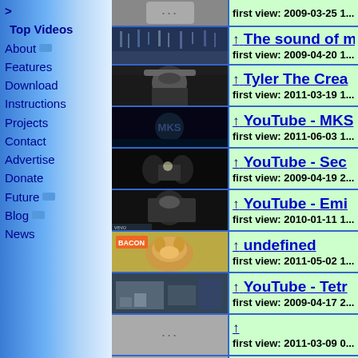> Top Videos
About
Features
Download
Instructions
Projects
Contact
Advertise
Donate
Future
Blog
News
[Figure (screenshot): Video thumbnail - rain/waterfall scene]
↑ The sound of m... first view: 2009-04-20 1...
[Figure (screenshot): Video thumbnail - person with cap]
↑ Tyler The Crea... first view: 2011-03-19 1...
[Figure (screenshot): Video thumbnail - dark scene MKS]
↑ YouTube - MKS... first view: 2011-06-03 1...
[Figure (screenshot): Video thumbnail - two silhouettes]
↑ YouTube - Sec... first view: 2009-04-19 2...
[Figure (screenshot): Video thumbnail - Eminem hooded]
↑ YouTube - Emi... first view: 2010-01-11 1...
[Figure (screenshot): Video thumbnail - dog with bacon sign]
↑ undefined first view: 2011-05-02 1...
[Figure (screenshot): Video thumbnail - Tetris room]
↑ YouTube - Tetr... first view: 2009-04-17 2...
[Figure (screenshot): Gray placeholder thumbnail]
↑ first view: 2011-03-09 0...
[Figure (screenshot): Gray placeholder thumbnail]
↑ YouTube - Gare... THE BENEFIT O... first view: 2011-03-01...